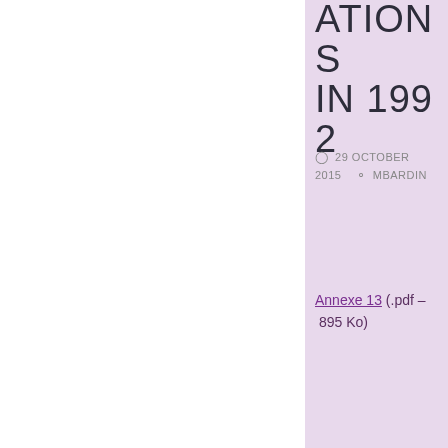ATIONS IN 1992
29 OCTOBER 2015   MBARDIN
Annexe 13 (.pdf – 895 Ko)
PERIODS, EVENTS, ACTORS, 1973-6 APRIL 1994, DOMESTIC OPPOSITION, DOMESTIC POLICY, MRND AND PRESIDENTIAL